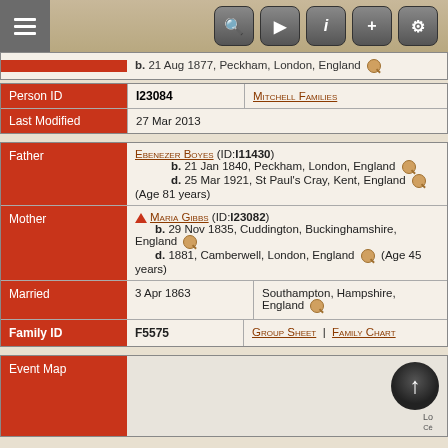Toolbar with menu and navigation icons
b. 21 Aug 1877, Peckham, London, England
| Field | Value | Source |
| --- | --- | --- |
| Person ID | I23084 | Mitchell Families |
| Last Modified | 27 Mar 2013 |  |
| Role | Details |
| --- | --- |
| Father | Ebenezer Boyes (ID:I11430)
b. 21 Jan 1840, Peckham, London, England
d. 25 Mar 1921, St Paul's Cray, Kent, England (Age 81 years) |
| Mother | Maria Gibbs (ID:I23082)
b. 29 Nov 1835, Cuddington, Buckinghamshire, England
d. 1881, Camberwell, London, England (Age 45 years) |
| Married | 3 Apr 1863 | Southampton, Hampshire, England |
| Family ID | F5575 | Group Sheet | Family Chart |
[Figure (screenshot): Event Map section with map thumbnail showing navigation arrow]